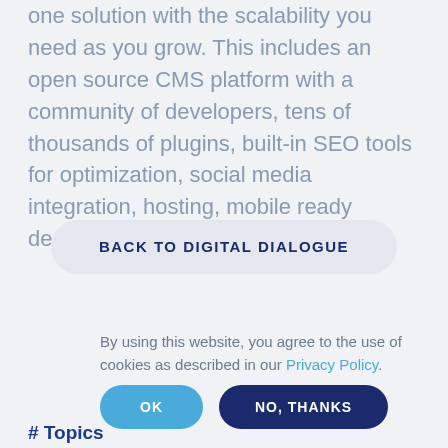one solution with the scalability you need as you grow. This includes an open source CMS platform with a community of developers, tens of thousands of plugins, built-in SEO tools for optimization, social media integration, hosting, mobile ready design and insights
BACK TO DIGITAL DIALOGUE
By using this website, you agree to the use of cookies as described in our Privacy Policy.
OK
NO, THANKS
# Topics